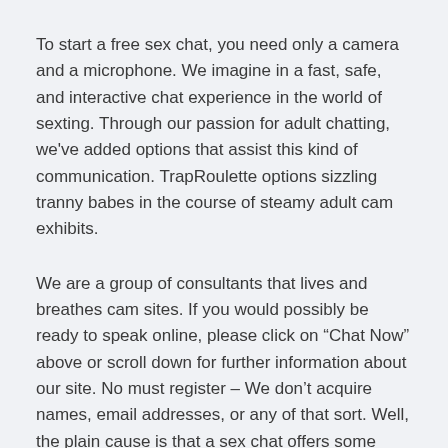To start a free sex chat, you need only a camera and a microphone. We imagine in a fast, safe, and interactive chat experience in the world of sexting. Through our passion for adult chatting, we've added options that assist this kind of communication. TrapRoulette options sizzling tranny babes in the course of steamy adult cam exhibits.
We are a group of consultants that lives and breathes cam sites. If you would possibly be ready to speak online, please click on “Chat Now” above or scroll down for further information about our site. No must register – We don’t acquire names, email addresses, or any of that sort. Well, the plain cause is that a sex chat offers some much-needed relief from a world the place everyone is a bundle of nerves strolling around. The resolution to the world’s issues is to hitch a sex chat. Thousands of adult chat converts find exactly the chatmate looking for”